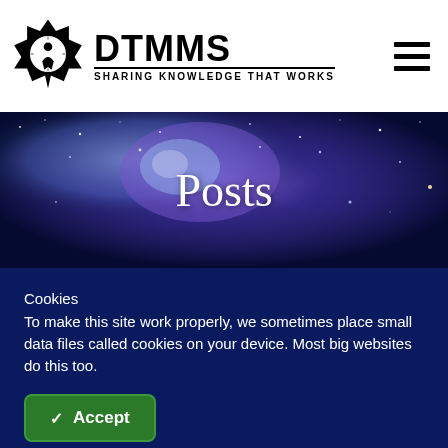[Figure (logo): DTMMS logo: star/badge shape in black with a figure inside, beside bold text DTMMS and tagline SHARING KNOWLEDGE THAT WORKS]
[Figure (photo): Hero banner photo of the Milky Way galaxy/night sky with blue and purple nebula, stars visible]
Posts
Cookies
To make this site work properly, we sometimes place small data files called cookies on your device. Most big websites do this too.
Accept